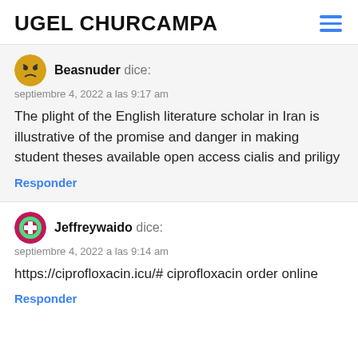UGEL CHURCAMPA
Beasnuder dice:
septiembre 4, 2022 a las 9:17 am
The plight of the English literature scholar in Iran is illustrative of the promise and danger in making student theses available open access cialis and priligy
Responder
Jeffreywaido dice:
septiembre 4, 2022 a las 9:14 am
https://ciprofloxacin.icu/# ciprofloxacin order online
Responder